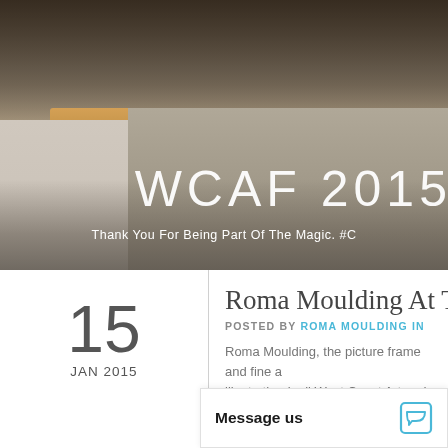[Figure (photo): Photo of people behind a wooden desk/table at WCAF 2015 event, with overlay text 'WCAF 2015' and subtitle 'Thank You For Being Part Of The Magic. #C']
Roma Moulding At T
POSTED BY ROMA MOULDING IN
Roma Moulding, the picture frame and fine a... like to thank all West Coast Art and Frame B... exh... the pla... a
Message us